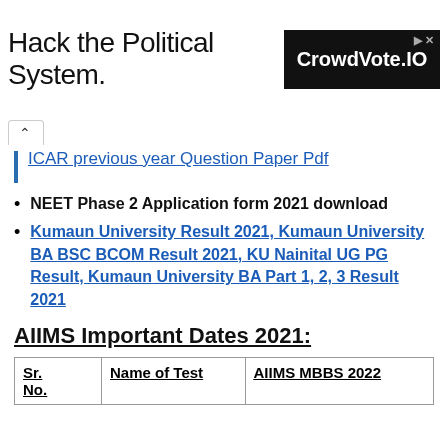[Figure (other): Advertisement banner: 'Hack the Political System.' text on left, CrowdVote.IO logo on black background on right with arrow icons]
ICAR previous year Question Paper Pdf
NEET Phase 2 Application form 2021 download
Kumaun University Result 2021, Kumaun University BA BSC BCOM Result 2021, KU Nainital UG PG Result, Kumaun University BA Part 1, 2, 3 Result 2021
AIIMS Important Dates 2021:
| Sr. No. | Name of Test | AIIMS MBBS 2022 |
| --- | --- | --- |